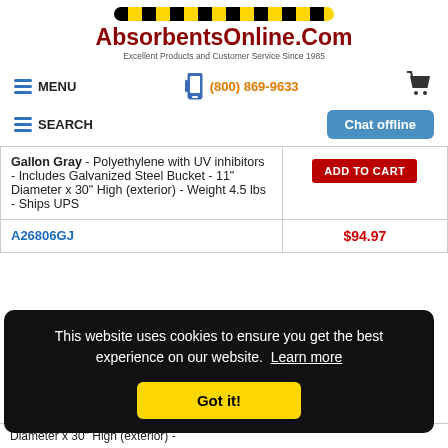[Figure (logo): AbsorbentsOnline.Com logo with caution stripe bar above, tagline: Excellent Products and Customer Service Since 1985]
MENU | (800) 869-9633 | cart icon
SEARCH | Chat offline
| Product Description | Price / Action |
| --- | --- |
| Gallon Gray - Polyethylene with UV inhibitors - Includes Galvanized Steel Bucket - 11" Diameter x 30" High (exterior) - Weight 4.5 lbs - Ships UPS | ADD TO CART |
| A26806GJ | $94.97 |
This website uses cookies to ensure you get the best experience on our website. Learn more
Got it!
Diameter x 30" High (exterior) -